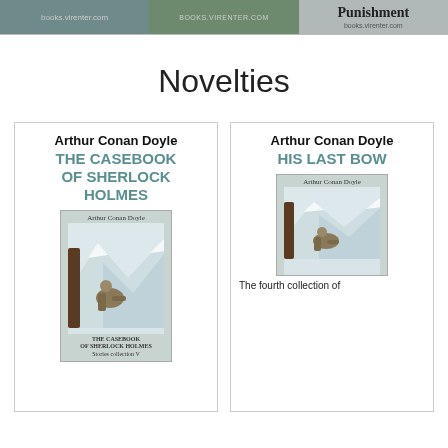books.virenter.com | books.virenter.com | books.virenter.com
Novelties
[Figure (illustration): Book card for Arthur Conan Doyle: THE CASEBOOK OF SHERLOCK HOLMES, with illustrated cover showing a man crouching among rocks with snowy mountains in background. Cover text: THE CASEBOOK OF SHERLOCK HOLMES, Stories collection V]
[Figure (illustration): Book card for Arthur Conan Doyle: HIS LAST BOW, with illustrated cover showing a man crouching with snowy mountains in background. Below: The fourth collection of]